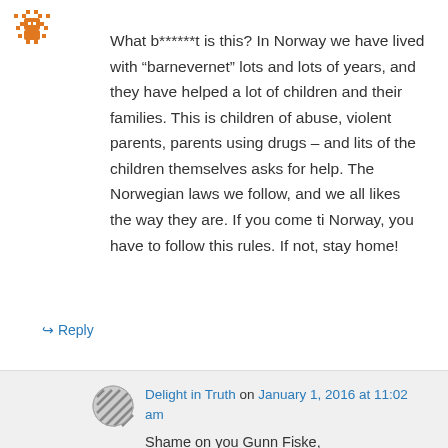[Figure (illustration): Orange pixel-art bug/spider avatar icon in top-left corner]
What b******t is this? In Norway we have lived with “barnevernet” lots and lots of years, and they have helped a lot of children and their families. This is children of abuse, violent parents, parents using drugs – and lits of the children themselves asks for help. The Norwegian laws we follow, and we all likes the way they are. If you come ti Norway, you have to follow this rules. If not, stay home!
↵ Reply
[Figure (illustration): Circular striped grayscale avatar icon for Delight in Truth commenter]
Delight in Truth on January 1, 2016 at 11:02 am
Shame on you Gunn Fiske.